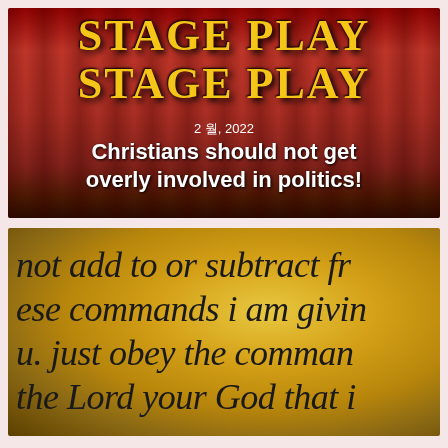[Figure (photo): Theater stage with red curtains and yellow stylized dripping text reading 'STAGE PLAY STAGE PLAY', with date '2 월, 2022' and headline 'Christians should not get overly involved in politics!' overlaid in white text]
[Figure (photo): Close-up of handwritten scripture text in black ink on a golden/yellow blurred background, reading partial text: 'not add to or subtract fr- / ese commands i am givin- / u. just obey the comman- / the Lord your God that i']